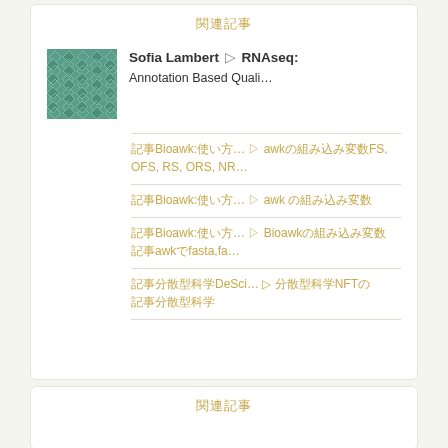関連記事
[Figure (illustration): Decorative geometric diamond pattern avatar in teal/green color]
Sofia Lambert ▷ RNAseq: Annotation Based Quali…
記事Bioawk:使い方… ▷ awkの組み込み変数FS, OFS, RS, ORS, NR…
記事Bioawk:使い方… ▷ awk の組み込み変数
記事Bioawk:使い方… ▷ Bioawkの組み込み変数 記事awkでfasta,fa…
記事分散型科学DeSci… ▷ 分散型科学NFTの 記事分散型科学
関連記事